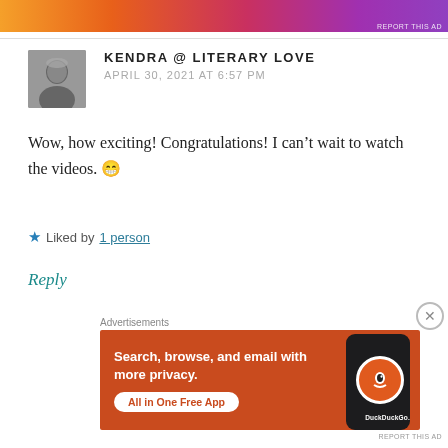[Figure (other): Top advertisement banner with colorful gradient orange-to-pink pattern]
REPORT THIS AD
KENDRA @ LITERARY LOVE
APRIL 30, 2021 AT 6:57 PM
Wow, how exciting! Congratulations! I can't wait to watch the videos. 😀
★ Liked by 1 person
Reply
Advertisements
[Figure (screenshot): DuckDuckGo advertisement banner: Search, browse, and email with more privacy. All in One Free App]